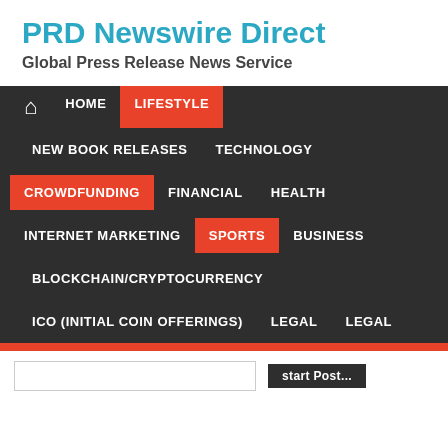PRD Newswire Direct
Global Press Release News Service
HOME | LIFESTYLE | NEW BOOK RELEASES | TECHNOLOGY | CROWDFUNDING | FINANCIAL | HEALTH | INTERNET MARKETING | SPORTS | BUSINESS | BLOCKCHAIN/CRYPTOCURRENCY | ICO (INITIAL COIN OFFERINGS) | LEGAL | LEGAL
[Figure (screenshot): Navigation menu with dark background showing categories: HOME, LIFESTYLE (active/red), NEW BOOK RELEASES, TECHNOLOGY, CROWDFUNDING (active/red), FINANCIAL, HEALTH, INTERNET MARKETING, SPORTS (active/red), BUSINESS, BLOCKCHAIN/CRYPTOCURRENCY, ICO (INITIAL COIN OFFERINGS), LEGAL, LEGAL]